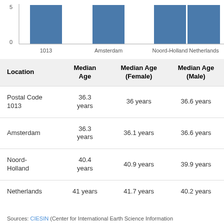[Figure (bar-chart): Median Age]
| Location | Median Age | Median Age (Female) | Median Age (Male) |
| --- | --- | --- | --- |
| Postal Code 1013 | 36.3 years | 36 years | 36.6 years |
| Amsterdam | 36.3 years | 36.1 years | 36.6 years |
| Noord-Holland | 40.4 years | 40.9 years | 39.9 years |
| Netherlands | 41 years | 41.7 years | 40.2 years |
Sources: CIESIN (Center for International Earth Science Information